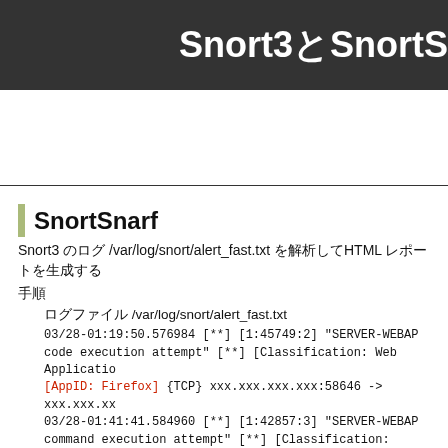Snort3とSnortS
SnortSnarf
Snort3 のログ /var/log/snort/alert_fast.txt を解析してHTML レポートを生成する
手順
ログファイル /var/log/snort/alert_fast.txt
03/28-01:19:50.576984 [**] [1:45749:2] "SERVER-WEBAP code execution attempt" [**] [Classification: Web Applicatio [AppID: Firefox] {TCP} xxx.xxx.xxx.xxx:58646 -> xxx.xxx.xx 03/28-01:41:41.584960 [**] [1:42857:3] "SERVER-WEBAP command execution attempt" [**] [Classification: Attempted [Priority: 1] [AppID: HTTP] {TCP} xxx.xxx.xxx.xxx:40306 ->